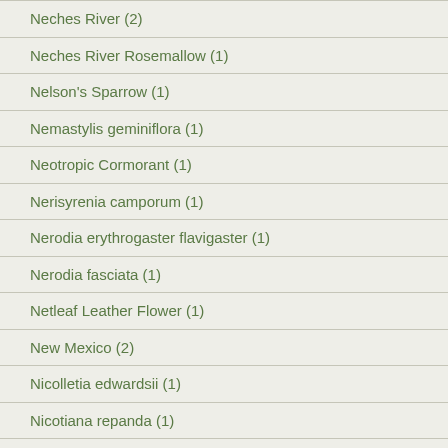Neches River (2)
Neches River Rosemallow (1)
Nelson's Sparrow (1)
Nemastylis geminiflora (1)
Neotropic Cormorant (1)
Nerisyrenia camporum (1)
Nerodia erythrogaster flavigaster (1)
Nerodia fasciata (1)
Netleaf Leather Flower (1)
New Mexico (2)
Nicolletia edwardsii (1)
Nicotiana repanda (1)
Nine-banded Armadillo (1)
Nodding Milkweed (1)
Nodding Penstemon (1)